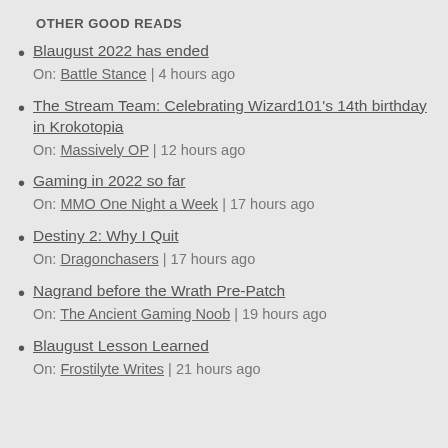OTHER GOOD READS
Blaugust 2022 has ended
On: Battle Stance | 4 hours ago
The Stream Team: Celebrating Wizard101’s 14th birthday in Krokotopia
On: Massively OP | 12 hours ago
Gaming in 2022 so far
On: MMO One Night a Week | 17 hours ago
Destiny 2: Why I Quit
On: Dragonchasers | 17 hours ago
Nagrand before the Wrath Pre-Patch
On: The Ancient Gaming Noob | 19 hours ago
Blaugust Lesson Learned
On: Frostilyte Writes | 21 hours ago